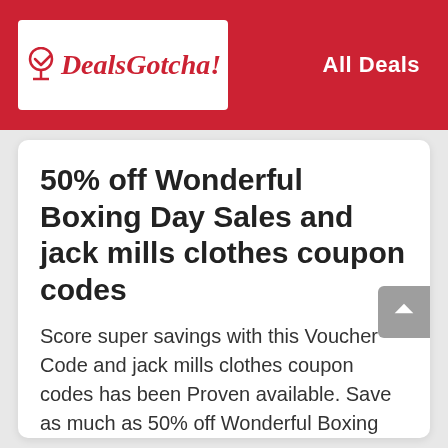DealsGotcha! | All Deals
50% off Wonderful Boxing Day Sales and jack mills clothes coupon codes
Score super savings with this Voucher Code and jack mills clothes coupon codes has been Proven available. Save as much as 50% off Wonderful Boxing Day Sales and jack mills clothes coupon codes. Grab it befor it is expired.
70 Used